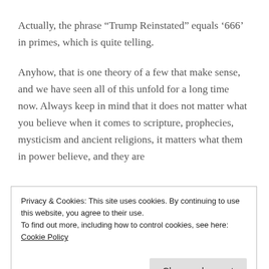Actually, the phrase “Trump Reinstated” equals ‘666’ in primes, which is quite telling.
Anyhow, that is one theory of a few that make sense, and we have seen all of this unfold for a long time now. Always keep in mind that it does not matter what you believe when it comes to scripture, prophecies, mysticism and ancient religions, it matters what them in power believe, and they are
Privacy & Cookies: This site uses cookies. By continuing to use this website, you agree to their use.
To find out more, including how to control cookies, see here: Cookie Policy
Close and accept
Controlled Opposition Donald Trump Propaganda...